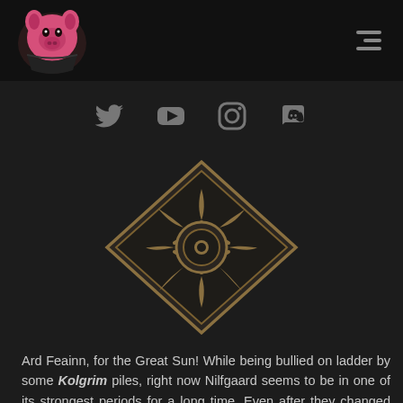[Figure (logo): Pink/magenta cartoon pig head with bandana logo in top left corner]
[Figure (infographic): Menu hamburger icon (three horizontal lines) in top right corner]
[Figure (other): Row of four social media icons: Twitter bird, YouTube play button, Instagram camera, Discord speech bubble]
[Figure (illustration): Dark diamond/rhombus shaped emblem with golden border containing a sun symbol with radiating curved rays around a central circle, set against dark background]
Ard Feainn, for the Great Sun! While being bullied on ladder by some Kolgrim piles, right now Nilfgaard seems to be in one of its strongest periods for a long time. Even after they changed Masquerade Ball to not being triggered by disloyal